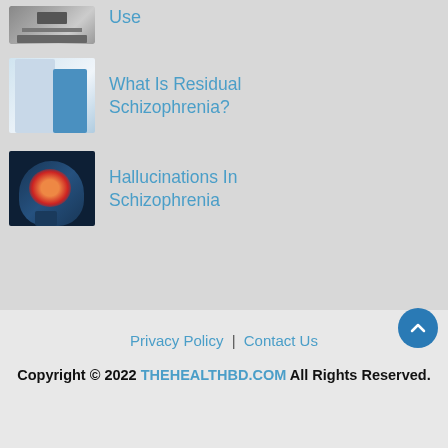[Figure (photo): Partially visible image of medical/electronic equipment at top of page]
Use
[Figure (photo): Doctor with patient in clinical setting]
What Is Residual Schizophrenia?
[Figure (photo): X-ray style brain scan illustration with glowing highlighted brain region]
Hallucinations In Schizophrenia
Privacy Policy | Contact Us
Copyright © 2022 THEHEALTHBD.COM All Rights Reserved.